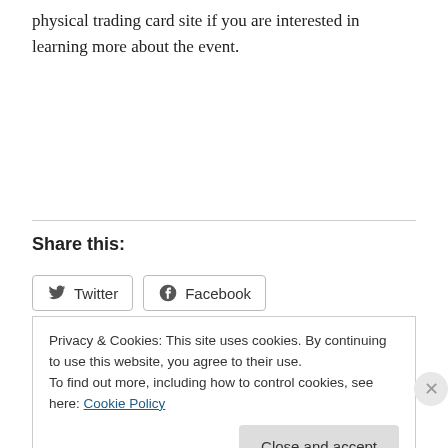physical trading card site if you are interested in learning more about the event.
Share this:
Twitter  Facebook
Privacy & Cookies: This site uses cookies. By continuing to use this website, you agree to their use.
To find out more, including how to control cookies, see here: Cookie Policy
Close and accept